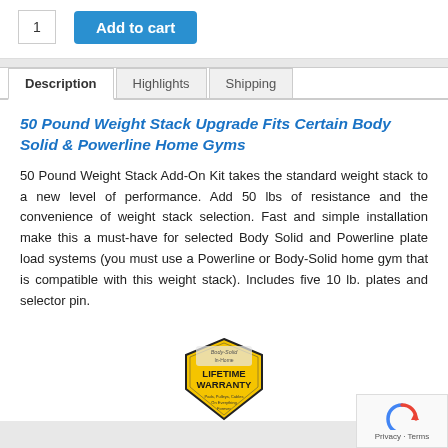1
Add to cart
Description  Highlights  Shipping
50 Pound Weight Stack Upgrade Fits Certain Body Solid & Powerline Home Gyms
50 Pound Weight Stack Add-On Kit takes the standard weight stack to a new level of performance. Add 50 lbs of resistance and the convenience of weight stack selection. Fast and simple installation make this a must-have for selected Body Solid and Powerline plate load systems (you must use a Powerline or Body-Solid home gym that is compatible with this weight stack). Includes five 10 lb. plates and selector pin.
[Figure (logo): Body Solid In-Home Lifetime Warranty badge - Pads, Pulleys, Cables, On Everything, Forever]